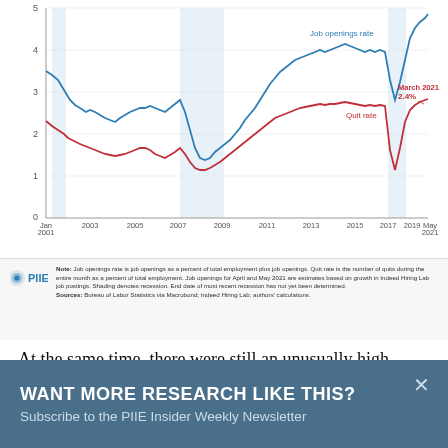[Figure (line-chart): Job openings rate and Quit rate, Jan 2001–May 2021]
Note: Job openings rate is job openings as a percent of total employment plus job openings. Quit rate is the number of quits during the entire month as a percent of total employment. Job openings for April and May 2021 are estimates based on growth in Indeed Hiring Lab job postings. Shading denotes recession. End date of most recent recession has not yet been determined. Sources: Bureau of Labor Statistics via Macrobond; Indeed Hiring Lab; authors' calculations.
At the same time, there were still an unusually high number of unemployed workers so that
WANT MORE RESEARCH LIKE THIS? Subscribe to the PIIE Insider Weekly Newsletter